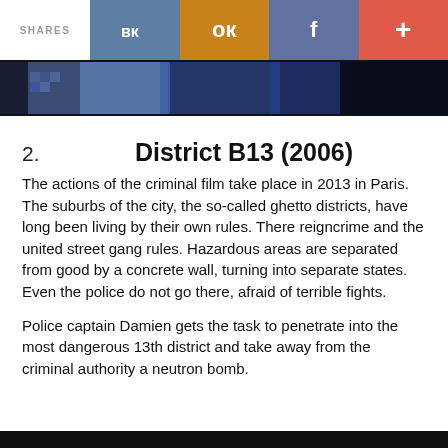SHARES  VK  OK  f  +
[Figure (photo): Partial photo strip showing a person in a blue checkered shirt, dark background]
2.  District B13 (2006)
The actions of the criminal film take place in 2013 in Paris. The suburbs of the city, the so-called ghetto districts, have long been living by their own rules. There reigncrime and the united street gang rules. Hazardous areas are separated from good by a concrete wall, turning into separate states. Even the police do not go there, afraid of terrible fights.
Police captain Damien gets the task to penetrate into the most dangerous 13th district and take away from the criminal authority a neutron bomb.